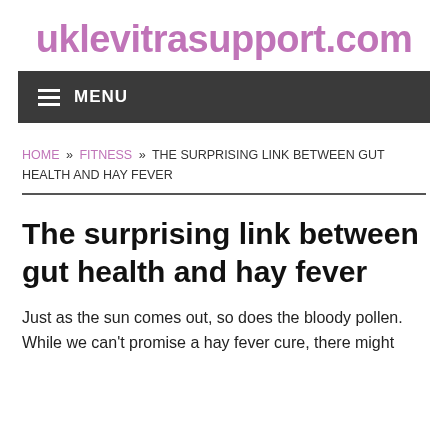uklevitrasupport.com
MENU
HOME » FITNESS » THE SURPRISING LINK BETWEEN GUT HEALTH AND HAY FEVER
The surprising link between gut health and hay fever
Just as the sun comes out, so does the bloody pollen. While we can't promise a hay fever cure, there might